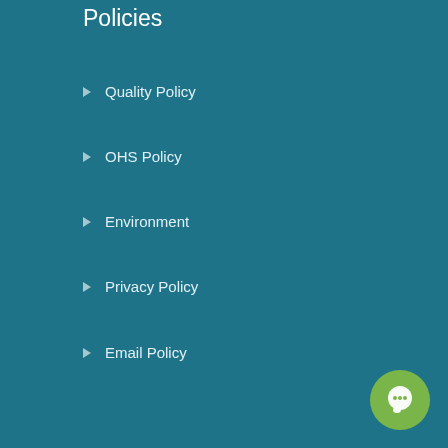Policies
Quality Policy
OHS Policy
Environment
Privacy Policy
Email Policy
Find Us
Contact Us
Training Portal
Information
NATA/ISO Accreditation
FAQ
[Figure (illustration): Green circular chat button with white speech bubble icon in bottom right corner]